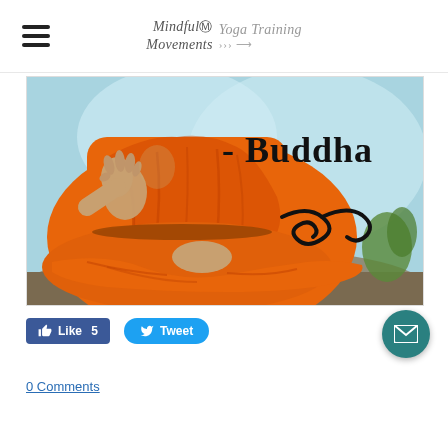Mindful Movements Yoga Training
[Figure (illustration): Painting of Buddha seated in lotus position wearing orange robes, with text '- Buddha' and a decorative swirl on the right side of the image]
Like 5
Tweet
0 Comments